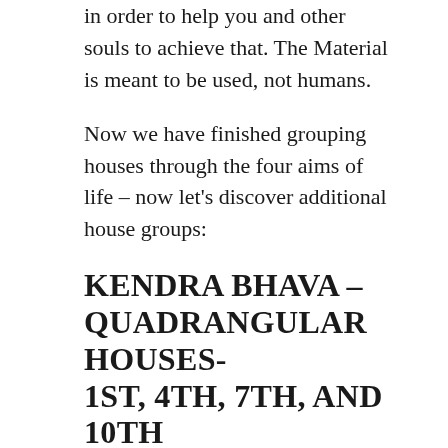in order to help you and other souls to achieve that. The Material is meant to be used, not humans.
Now we have finished grouping houses through the four aims of life – now let's discover additional house groups:
KENDRA BHAVA – QUADRANGULAR HOUSES- 1ST, 4TH, 7TH, AND 10TH HOUSES
These are the angular houses and represent geometric shape rectangle. This house group is very important, as any planet placed these